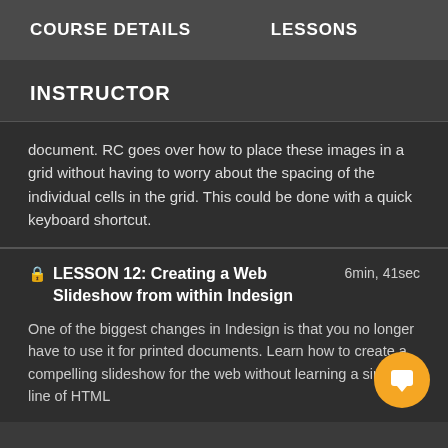COURSE DETAILS    LESSONS
INSTRUCTOR
document.  RC goes over how to place these images in a grid without having to worry about the spacing of the individual cells in the grid.  This could be done with a quick keyboard shortcut.
LESSON 12: Creating a Web Slideshow from within Indesign  6min, 41sec  One of the biggest changes in Indesign is that you no longer have to use it for printed documents.  Learn how to create a compelling slideshow for the web without learning a single line of HTML